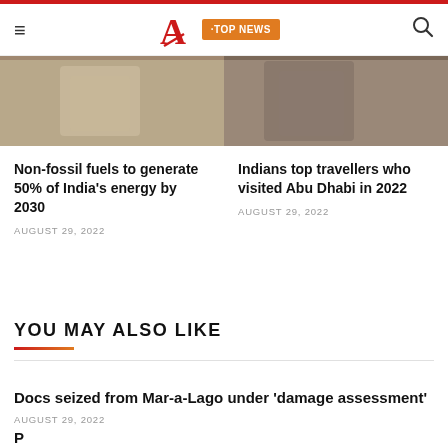TOP NEWS - Navigation header with logo
[Figure (photo): Two cropped news article photos side by side - left shows a person in light clothing, right shows a person in dark clothing]
Non-fossil fuels to generate 50% of India's energy by 2030
AUGUST 29, 2022
Indians top travellers who visited Abu Dhabi in 2022
AUGUST 29, 2022
YOU MAY ALSO LIKE
Docs seized from Mar-a-Lago under 'damage assessment'
AUGUST 29, 2022
Bottom article title (partially visible)